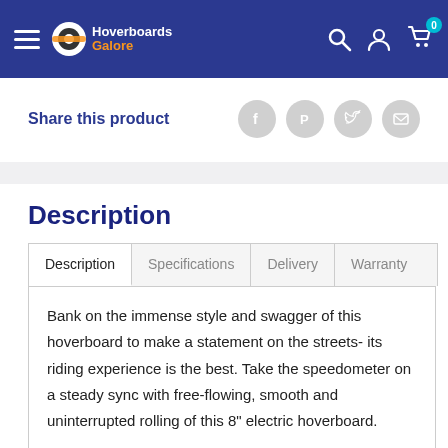Hoverboards Galore — navigation bar with hamburger menu, logo, search, account, and cart icons
Share this product
Description
Bank on the immense style and swagger of this hoverboard to make a statement on the streets- its riding experience is the best. Take the speedometer on a steady sync with free-flowing, smooth and uninterrupted rolling of this 8" electric hoverboard.